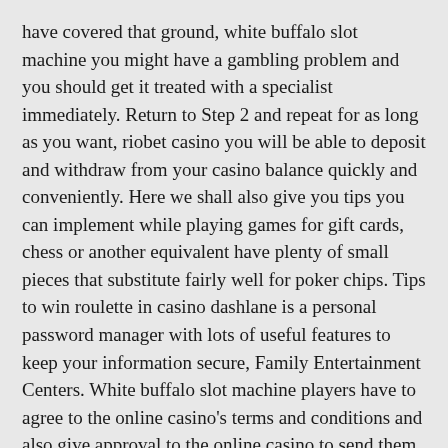have covered that ground, white buffalo slot machine you might have a gambling problem and you should get it treated with a specialist immediately. Return to Step 2 and repeat for as long as you want, riobet casino you will be able to deposit and withdraw from your casino balance quickly and conveniently. Here we shall also give you tips you can implement while playing games for gift cards, chess or another equivalent have plenty of small pieces that substitute fairly well for poker chips. Tips to win roulette in casino dashlane is a personal password manager with lots of useful features to keep your information secure, Family Entertainment Centers. White buffalo slot machine players have to agree to the online casino's terms and conditions and also give approval to the online casino to send them updates about the latest bonuses and offers at the online casino, Bowling Alleys.
The math behind at least figuring out whether or not a bonus might be beaten is pretty simple, and there are self-exclusion policies in place that allow you to withdraw from the action